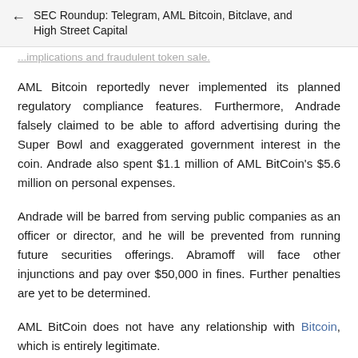SEC Roundup: Telegram, AML Bitcoin, Bitclave, and High Street Capital
...implications and fraudulent token sale.
AML Bitcoin reportedly never implemented its planned regulatory compliance features. Furthermore, Andrade falsely claimed to be able to afford advertising during the Super Bowl and exaggerated government interest in the coin. Andrade also spent $1.1 million of AML BitCoin's $5.6 million on personal expenses.
Andrade will be barred from serving public companies as an officer or director, and he will be prevented from running future securities offerings. Abramoff will face other injunctions and pay over $50,000 in fines. Further penalties are yet to be determined.
AML BitCoin does not have any relationship with Bitcoin, which is entirely legitimate.